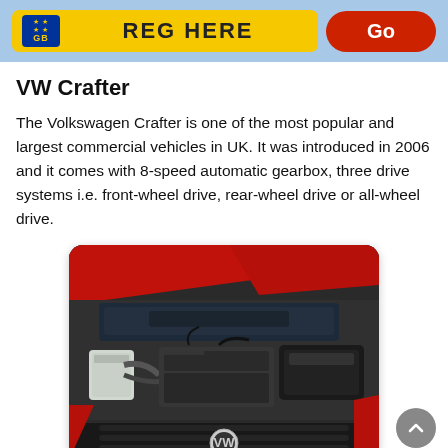REG HERE | Go
VW Crafter
The Volkswagen Crafter is one of the most popular and largest commercial vehicles in UK. It was introduced in 2006 and it comes with 8-speed automatic gearbox, three drive systems i.e. front-wheel drive, rear-wheel drive or all-wheel drive.
[Figure (photo): Photo of a VW Crafter engine bay with the hood open, showing the engine components including air intake, fluid reservoirs, and other mechanical parts. The vehicle body is red.]